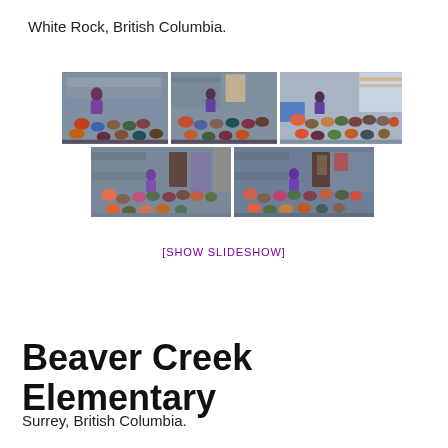White Rock, British Columbia.
[Figure (photo): Five photos of a school library visit showing a presenter (woman in purple) speaking to groups of elementary school children seated on the floor in a school library. Three photos on top row, two photos on bottom row.]
[SHOW SLIDESHOW]
Beaver Creek Elementary
Surrey, British Columbia.